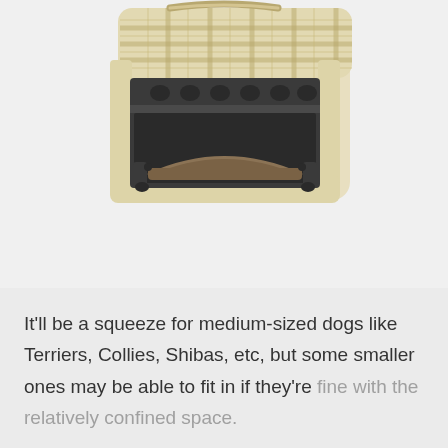[Figure (photo): A pet carrier/booster seat with a beige and brown plaid fabric exterior and a dark plastic frame interior, shown from the front with the door open revealing a curved interior floor. The carrier has a shoulder strap visible at the top.]
It'll be a squeeze for medium-sized dogs like Terriers, Collies, Shibas, etc, but some smaller ones may be able to fit in if they're fine with the relatively confined space.